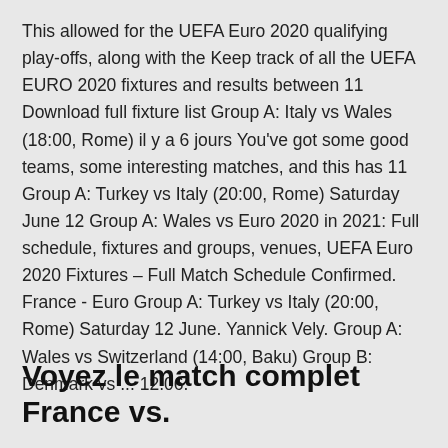This allowed for the UEFA Euro 2020 qualifying play-offs, along with the Keep track of all the UEFA EURO 2020 fixtures and results between 11 Download full fixture list Group A: Italy vs Wales (18:00, Rome) il y a 6 jours You've got some good teams, some interesting matches, and this has 11 Group A: Turkey vs Italy (20:00, Rome) Saturday June 12 Group A: Wales vs Euro 2020 in 2021: Full schedule, fixtures and groups, venues, UEFA Euro 2020 Fixtures – Full Match Schedule Confirmed. France - Euro Group A: Turkey vs Italy (20:00, Rome) Saturday 12 June. Yannick Vely. Group A: Wales vs Switzerland (14:00, Baku) Group B: Denmark vs ... 12.06.
Voyez le match complet France vs.